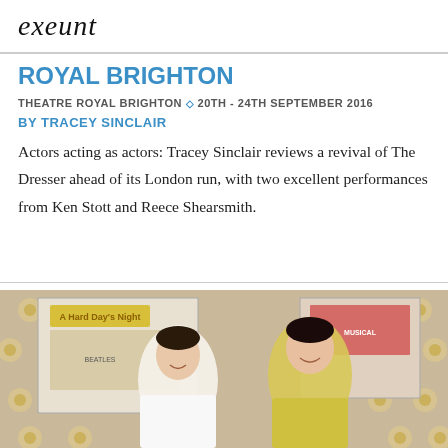exeunt
ROYAL BRIGHTON
THEATRE ROYAL BRIGHTON ◇ 20TH - 24TH SEPTEMBER 2016
BY TRACEY SINCLAIR
Actors acting as actors: Tracey Sinclair reviews a revival of The Dresser ahead of its London run, with two excellent performances from Ken Stott and Reece Shearsmith.
[Figure (photo): Two people (a man in white shirt and a woman in yellow dress) standing in front of a retro patterned wallpaper with vintage film posters including 'A Hard Day's Night']